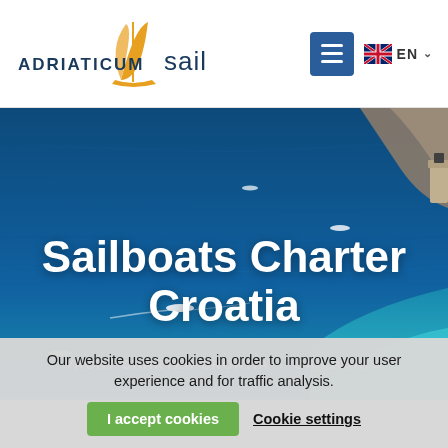ADRIATICUM sail — EN
[Figure (photo): Aerial view of sailboats and motorboats on deep blue Adriatic sea near a rocky coastline with turquoise shallow water]
Sailboats Charter Croatia
YACHT CHARTER CROATIA > SAILBOATS
Our website uses cookies in order to improve your user experience and for traffic analysis. I accept cookies | Cookie settings